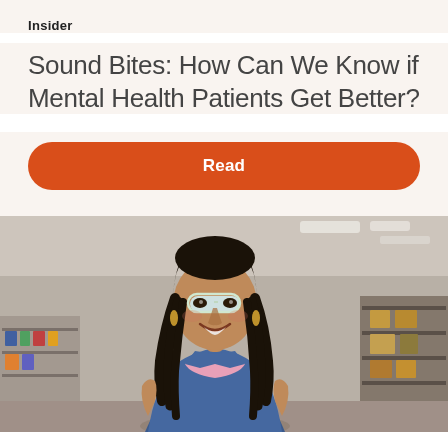Insider
Sound Bites: How Can We Know if Mental Health Patients Get Better?
Read
[Figure (photo): A smiling woman with long braided hair and clear-framed glasses, wearing a denim jacket over a pink top, standing in a warehouse/industrial setting with shelving and boxes in the background.]